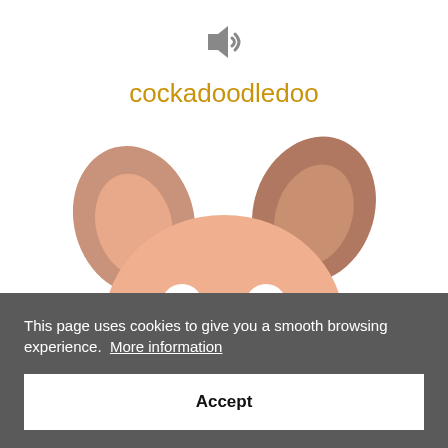[Figure (illustration): Speaker/sound icon (gray) indicating audio playback]
cockadoodledoo
[Figure (illustration): Cartoon pig peeking over the bottom edge of the upper section, with large pink ears, wide eyes, and a snout]
This page uses cookies to give you a smooth browsing experience.  More information
Accept